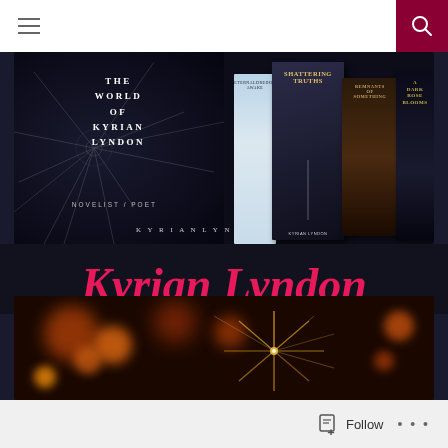Navigation bar with hamburger menu and search icon
[Figure (illustration): The World of Kyrian Lyndon banner with book covers for Eternaldredon Awake, Shattering Truths, Remnants of Something, and A Dark Rose Blooms against a dark cracked glass background. Text reads: THE WORLD OF KYRIAN LYNDON, NOVELIST / POET, KYRIANLYNDON.COM]
Kyrian Lyndon
[Figure (photo): Bokeh/fireworks background photo with orange and red light orbs and golden sparkler]
Follow ...